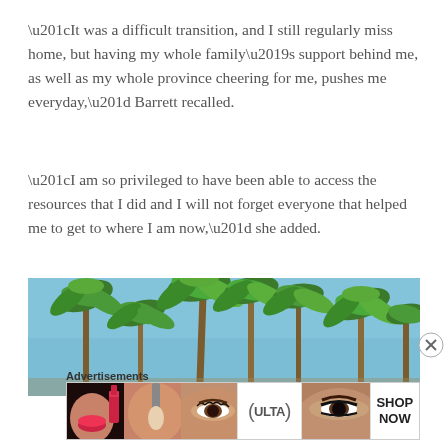“It was a difficult transition, and I still regularly miss home, but having my whole family’s support behind me, as well as my whole province cheering for me, pushes me everyday,” Barrett recalled.
“I am so privileged to have been able to access the resources that I did and I will not forget everyone that helped me to get to where I am now,” she added.
[Figure (photo): Palm trees against a clear blue sky, tropical outdoor scene]
Advertisements
[Figure (photo): Ulta Beauty advertisement banner showing makeup and beauty products with SHOP NOW call to action]